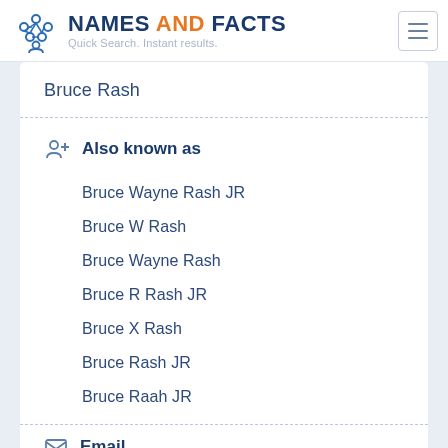NAMES AND FACTS — Quick Search. Instant results.
Bruce Rash
Also known as
Bruce Wayne Rash JR
Bruce W Rash
Bruce Wayne Rash
Bruce R Rash JR
Bruce X Rash
Bruce Rash JR
Bruce Raah JR
Email